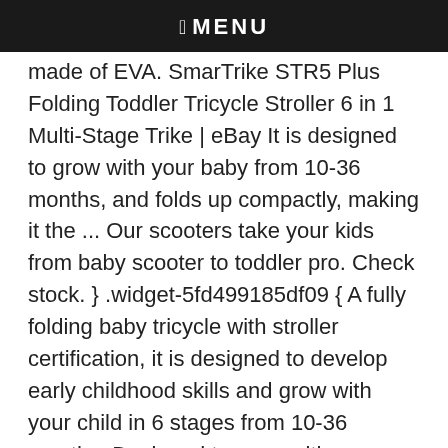MENU
made of EVA. SmarTrike STR5 Plus Folding Toddler Tricycle Stroller 6 in 1 Multi-Stage Trike | eBay It is designed to grow with your baby from 10-36 months, and folds up compactly, making it the ... Our scooters take your kids from baby scooter to toddler pro. Check stock. } .widget-5fd499185df09 { A fully folding baby tricycle with stroller certification, it is designed to develop early childhood skills and grow with your child in 6 stages from 10-36 months. Designed to grow with your baby from 10 to 36 months. What is the maximum weight limit for the STR line? 4.6 out of 5 stars 1,440. Grab a cool trike for your child now. More × The product is blue in color. Ages: 10 months and up. } }. It is designed to grow with your baby in 6 stages from 10-36 months, and